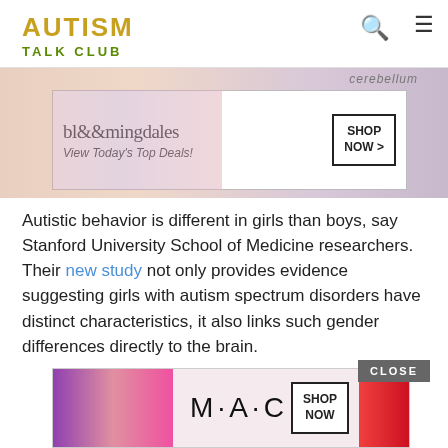AUTISM TALK CLUB
[Figure (screenshot): Bloomingdale's advertisement banner with woman in hat, 'View Today's Top Deals!' and SHOP NOW button, over a brain cerebellum background image]
Autistic behavior is different in girls than boys, say Stanford University School of Medicine researchers. Their new study not only provides evidence suggesting girls with autism spectrum disorders have distinct characteristics, it also links such gender differences directly to the brain.
[Figure (screenshot): MAC cosmetics advertisement with colorful lipsticks and SHOP NOW button, with CLOSE button in upper right]